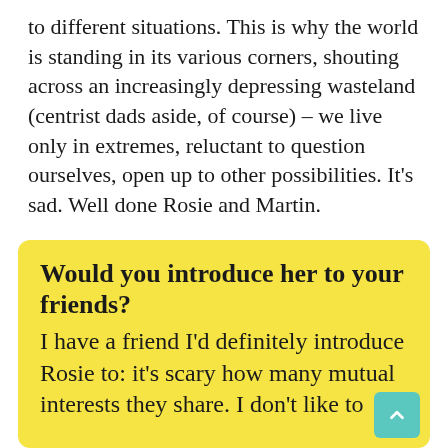to different situations. This is why the world is standing in its various corners, shouting across an increasingly depressing wasteland (centrist dads aside, of course) – we live only in extremes, reluctant to question ourselves, open up to other possibilities. It's sad. Well done Rosie and Martin.
Would you introduce her to your friends?
I have a friend I'd definitely introduce Rosie to: it's scary how many mutual interests they share. I don't like to